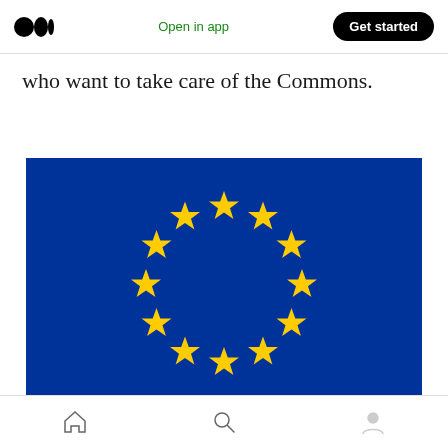Medium app header with logo, Open in app, Get started button
who want to take care of the Commons.
[Figure (illustration): European Union flag — blue background with 12 yellow five-pointed stars arranged in a circle]
Bottom navigation bar with home, search, and profile icons